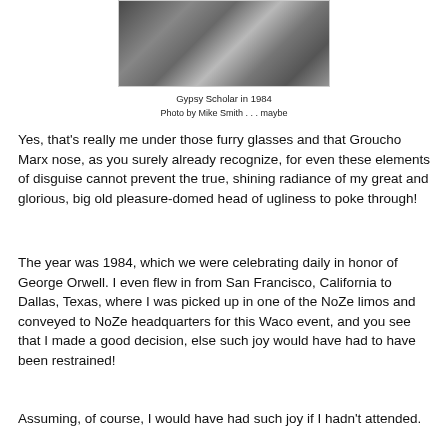[Figure (photo): Cropped bottom portion of a photo showing a person in disguise with furry glasses and Groucho Marx nose, taken in 1984]
Gypsy Scholar in 1984
Photo by Mike Smith . . . maybe
Yes, that's really me under those furry glasses and that Groucho Marx nose, as you surely already recognize, for even these elements of disguise cannot prevent the true, shining radiance of my great and glorious, big old pleasure-domed head of ugliness to poke through!
The year was 1984, which we were celebrating daily in honor of George Orwell. I even flew in from San Francisco, California to Dallas, Texas, where I was picked up in one of the NoZe limos and conveyed to NoZe headquarters for this Waco event, and you see that I made a good decision, else such joy would have had to have been restrained!
Assuming, of course, I would have had such joy if I hadn't attended.